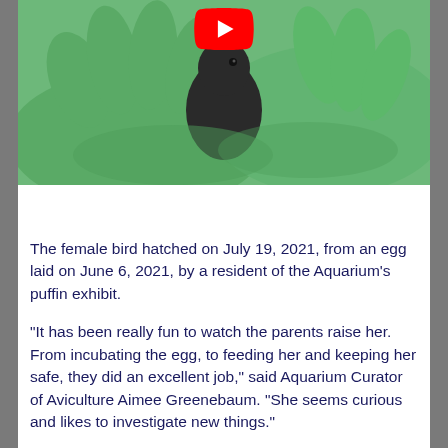[Figure (photo): A small dark bird (puffling) held in green-gloved hands, with a YouTube play button overlay visible at the top. Below the photo is a black bar (video player controls area).]
The female bird hatched on July 19, 2021, from an egg laid on June 6, 2021, by a resident of the Aquarium's puffin exhibit.
“It has been really fun to watch the parents raise her. From incubating the egg, to feeding her and keeping her safe, they did an excellent job,” said Aquarium Curator of Aviculture Aimee Greenebaum. “She seems curious and likes to investigate new things.”
The puffling currently resides behind the scenes while she